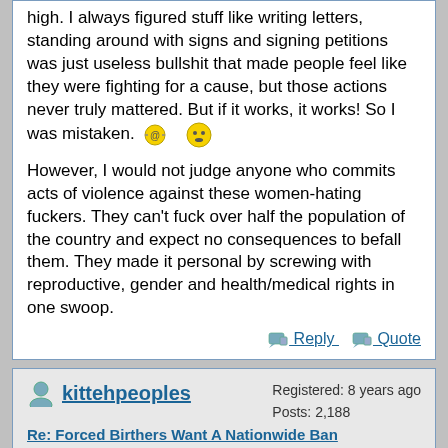high. I always figured stuff like writing letters, standing around with signs and signing petitions was just useless bullshit that made people feel like they were fighting for a cause, but those actions never truly mattered. But if it works, it works! So I was mistaken. 😵 😐
However, I would not judge anyone who commits acts of violence against these women-hating fuckers. They can't fuck over half the population of the country and expect no consequences to befall them. They made it personal by screwing with reproductive, gender and health/medical rights in one swoop.
Reply  Quote
kittehpeoples
Re: Forced Birthers Want A Nationwide Ban
May 07, 2022
Registered: 8 years ago
Posts: 2,188
Quote
Cambion
Peaceful protests don't do shit - mark my words, there will be crime and vandalism, and I wouldn't be surprised if at least